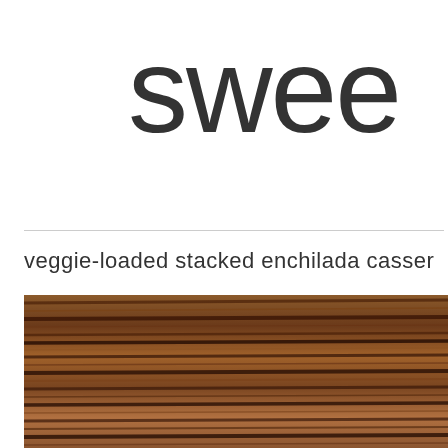swee
veggie-loaded stacked enchilada casser
[Figure (photo): Close-up of a dark walnut wood surface with horizontal grain lines in warm brown tones, shown as a partial food/recipe background image]